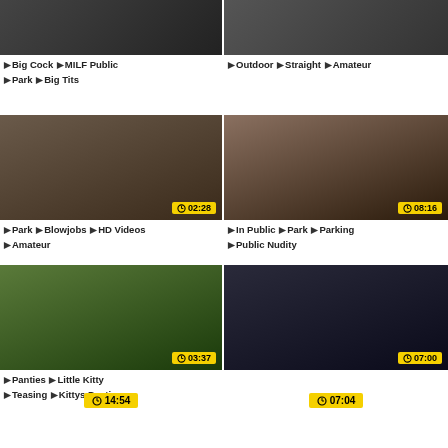[Figure (screenshot): Video thumbnail top-left with tags: Big Cock, MILF Public, Park, Big Tits]
[Figure (screenshot): Video thumbnail top-right with tags: Outdoor, Straight, Amateur]
[Figure (screenshot): Video thumbnail middle-left, duration 02:28, with tags: Park, Blowjobs, HD Videos, Amateur]
[Figure (screenshot): Video thumbnail middle-right, duration 08:16, with tags: In Public, Park, Parking, Public Nudity]
[Figure (screenshot): Video thumbnail lower-left, duration 03:37, with tags: Panties, Little Kitty, Teasing, Kittys Panties]
[Figure (screenshot): Video thumbnail lower-right, duration 07:00]
14:54 standalone duration badge
07:04 standalone duration badge